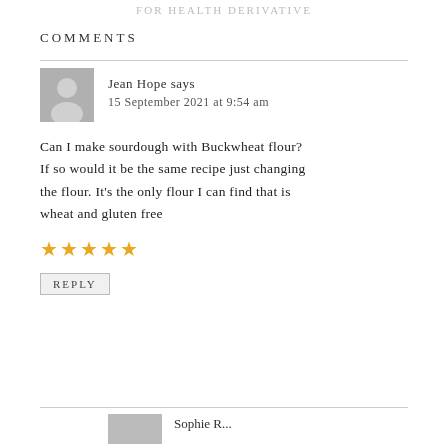FOR HEALTH DERIVATIVE
COMMENTS
Jean Hope says
15 September 2021 at 9:54 am
Can I make sourdough with Buckwheat flour? If so would it be the same recipe just changing the flour. It’s the only flour I can find that is wheat and gluten free
★★★★★
REPLY